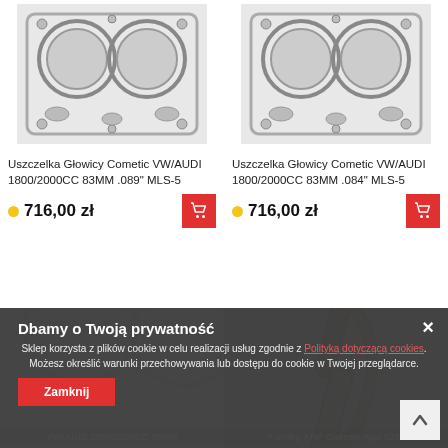[Figure (photo): Head gasket product image - Uszczelka Głowicy Cometic VW/AUDI 1800/2000CC 83MM .089 MLS-5]
Uszczelka Głowicy Cometic VW/AUDI 1800/2000CC 83MM .089" MLS-5
716,00 zł
[Figure (photo): Head gasket product image - Uszczelka Głowicy Cometic VW/AUDI 1800/2000CC 83MM .084 MLS-5]
Uszczelka Głowicy Cometic VW/AUDI 1800/2000CC 83MM .084" MLS-5
716,00 zł
[Figure (photo): Bottom left product partial image - VW/AUDI 1800/2000CC 83MM]
VW/AUDI 1800/2000CC 83MM
[Figure (photo): Bottom right product partial image - + śruby ARP Custom Age 625+]
+ śruby ARP Custom Age 625+
Dbamy o Twoją prywatność
Sklep korzysta z plików cookie w celu realizacji usług zgodnie z Polityką dotyczącą cookies. Możesz określić warunki przechowywania lub dostępu do cookie w Twojej przeglądarce.
Zamknij